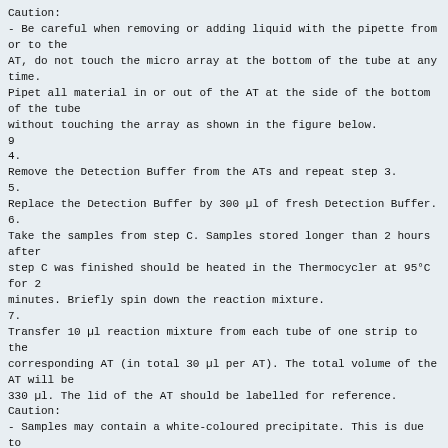Caution:
- Be careful when removing or adding liquid with the pipette from or to the
AT, do not touch the micro array at the bottom of the
tube at any time.
Pipet all material in or out of the AT at the side of the bottom of the tube
without touching the array as shown in the figure
below.
9
4.
Remove the Detection Buffer from the ATs and repeat step 3.
5.
Replace the Detection Buffer by 300 µl of fresh Detection Buffer.
6.
Take the samples from step C. Samples stored longer than 2 hours after
step C was finished should be heated in the Thermocycler at 95°C for 2
minutes. Briefly spin down the reaction mixture.
7.
Transfer 10 µl reaction mixture from each tube of one strip to the
corresponding AT (in total 30 µl per AT). The total volume of the AT will be
330 µl. The lid of the AT should be labelled for reference.
Caution:
- Samples may contain a white-coloured precipitate. This is due to
denaturation of one of the reaction components, a